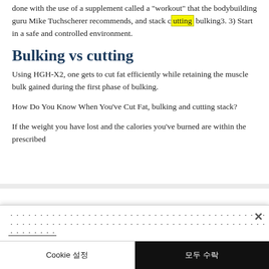done with the use of a supplement called a "workout" that the bodybuilding guru Mike Tuchscherer recommends, and stack cutting bulking3. 3) Start in a safe and controlled environment.
Bulking vs cutting
Using HGH-X2, one gets to cut fat efficiently while retaining the muscle bulk gained during the first phase of bulking.
How Do You Know When You've Cut Fat, bulking and cutting stack?
If the weight you have lost and the calories you've burned are within the prescribed
[Korean cookie notice text] Cookie 설정  [Korean accept button text]